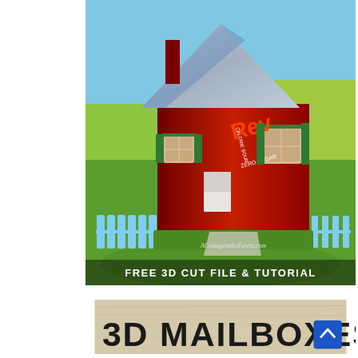[Figure (photo): A decorative 3D paper/cardboard cottage house model made from soda cans with silver embossed roof, red walls with green windows, white picket fence, set on green grass with blue sky background. Text overlay says 'ACottageintheForest.com' and 'FREE 3D CUT FILE & TUTORIAL'.]
[Figure (photo): Tan/cream textured background with large bold black text reading '3D MAILBOXES'. A blue button with upward chevron arrow is visible at the right.]